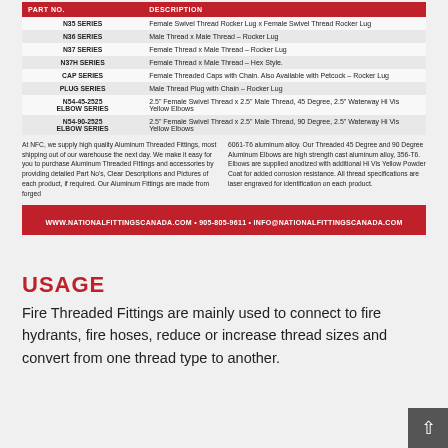| PART NO. | DESCRIPTION |
| --- | --- |
| N35 SERIES | Female Swivel Thread Rocker Lug x Female Swivel Thread Rocker Lug |
| N36 SERIES | Male Thread x Male Thread – Rocker Lug |
| N37 SERIES | Female Thread x Male Thread – Rocker Lug |
| N37H SERIES | Female Thread x Male Thread – Hex Style. |
| CAP SERIES | Female Threaded Caps with Chain. Also Available with Petcock – Rocker Lug |
| PLUG SERIES | Male Thread Plug with Chain – Rocker Lug |
| N54-45-2525 ELBOW SERIES | 2.5" Female Swivel Thread x 2.5" Male Thread, 45 Degree, 2.5" Waterway Hi Vis Yellow Elbows |
| N54-90-2525 ELBOW SERIES | 2.5" Female Swivel Thread x 2.5" Male Thread, 90 Degree, 2.5" Waterway Hi Vis Yellow Elbows |
At NFC, we supply high quality Aluminum Threaded Fittings, most shipping out of our warehouse the next day. We make it easy for you to purchase Aluminum Threaded Fittings and accessories by providing detailed Part No's, Clear Descriptions and Pictures of each product, if required. Our Aluminum Fittings are made from forged 6061-T6 aluminum alloy. Our Threaded 45 Degree and 90 Degree Aluminum Elbows are high strength cast aluminum alloy, 356-T6. Elbows are supplied anodized with additional Hi Vis Yellow Powder Coat for added corrosion resistance. All thread specifications are laser engraved for identification on each product.
WWW.NATIONALFITTINGSCANADA.COM • 905-805-9611 • INFO@NATIONALFITTINGSCANADA.COM
USAGE
Fire Threaded Fittings are mainly used to connect to fire hydrants, fire hoses, reduce or increase thread sizes and convert from one thread type to another.